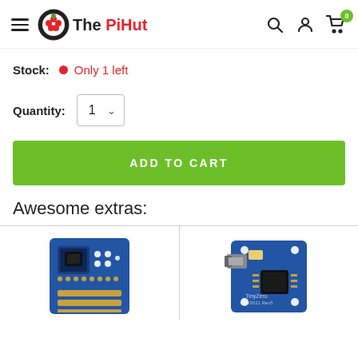The PiHut
Stock: Only 1 left
Quantity: 1
ADD TO CART
Awesome extras:
[Figure (photo): Two electronic microcontroller boards shown as product extras]
[Figure (photo): Second electronic microcontroller board product extra]